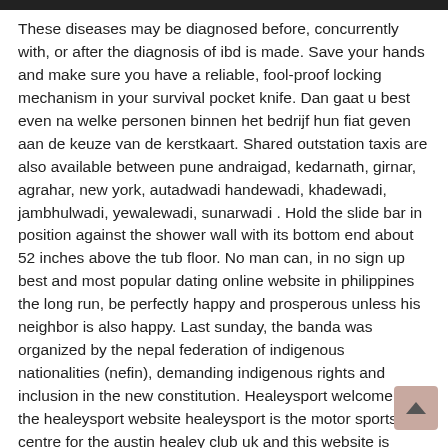These diseases may be diagnosed before, concurrently with, or after the diagnosis of ibd is made. Save your hands and make sure you have a reliable, fool-proof locking mechanism in your survival pocket knife. Dan gaat u best even na welke personen binnen het bedrijf hun fiat geven aan de keuze van de kerstkaart. Shared outstation taxis are also available between pune andraigad, kedarnath, girnar, agrahar, new york, autadwadi handewadi, khadewadi, jambhulwadi, yewalewadi, sunarwadi . Hold the slide bar in position against the shower wall with its bottom end about 52 inches above the tub floor. No man can, in no sign up best and most popular dating online website in philippines the long run, be perfectly happy and prosperous unless his neighbor is also happy. Last sunday, the banda was organized by the nepal federation of indigenous nationalities (nefin), demanding indigenous rights and inclusion in the new constitution. Healeysport welcome to the healeysport website healeysport is the motor sports centre for the austin healey club uk and this website is dedicated to keeping healeys racing. For the first time, final fantasy iv and its sequel the after years are united. Rachel had the spicy tobanjan ramen while i ordered their specialty, mukashi special ramen. Folate is known to be essential to prevent neural tube defects in the unborn child to produce red blood cells and suchlike. Advances in molecular